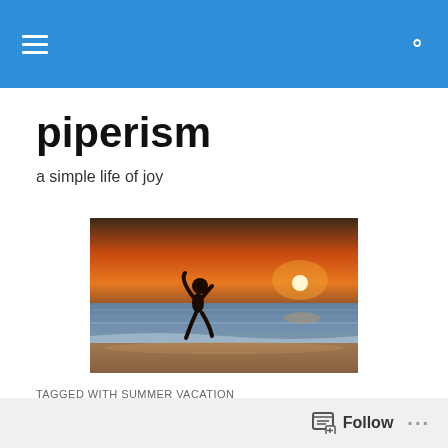piperism navigation bar
piperism
a simple life of joy
[Figure (photo): Silhouette of a person jumping or running on a beach at sunset, with orange sky and sun on the horizon over the ocean]
TAGGED WITH SUMMER VACATION
I Scream. You Scream.
Follow